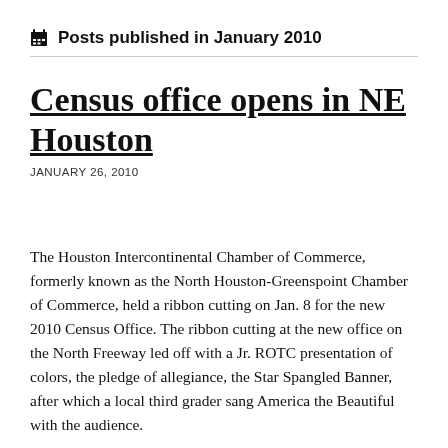Posts published in January 2010
Census office opens in NE Houston
JANUARY 26, 2010
The Houston Intercontinental Chamber of Commerce, formerly known as the North Houston-Greenspoint Chamber of Commerce, held a ribbon cutting on Jan. 8 for the new 2010 Census Office. The ribbon cutting at the new office on the North Freeway led off with a Jr. ROTC presentation of colors, the pledge of allegiance, the Star Spangled Banner, after which a local third grader sang America the Beautiful with the audience.